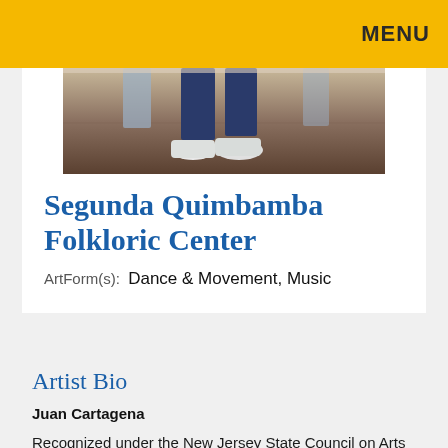MENU
[Figure (photo): Close-up photo of dancers' feet on a wooden floor, wearing white shoes with dark pants/jeans]
Segunda Quimbamba Folkloric Center
ArtForm(s):  Dance & Movement, Music
Artist Bio
Juan Cartagena
Recognized under the New Jersey State Council on Arts Folk Apprenticeship Program as a Master Drummer, Mr. Cartagena has been performing,